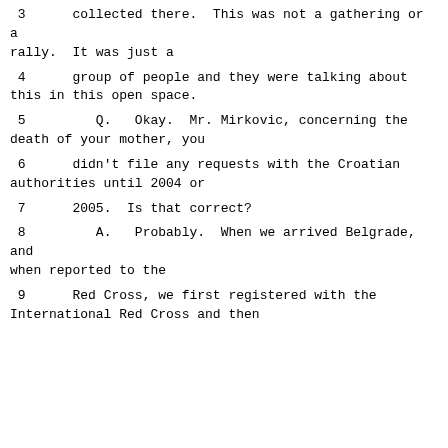3      collected there.  This was not a gathering or a rally.  It was just a
4      group of people and they were talking about this in this open space.
5      Q.   Okay.  Mr. Mirkovic, concerning the death of your mother, you
6      didn't file any requests with the Croatian authorities until 2004 or
7      2005.  Is that correct?
8      A.   Probably.  When we arrived Belgrade, and when reported to the
9      Red Cross, we first registered with the International Red Cross and then